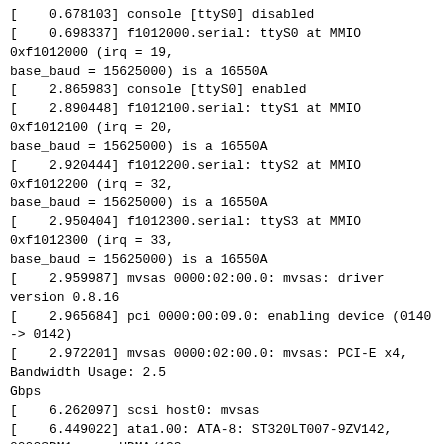[    0.678103] console [ttyS0] disabled
[    0.698337] f1012000.serial: ttyS0 at MMIO 0xf1012000 (irq = 19,
base_baud = 15625000) is a 16550A
[    2.865983] console [ttyS0] enabled
[    2.890448] f1012100.serial: ttyS1 at MMIO 0xf1012100 (irq = 20,
base_baud = 15625000) is a 16550A
[    2.920444] f1012200.serial: ttyS2 at MMIO 0xf1012200 (irq = 32,
base_baud = 15625000) is a 16550A
[    2.950404] f1012300.serial: ttyS3 at MMIO 0xf1012300 (irq = 33,
base_baud = 15625000) is a 16550A
[    2.959987] mvsas 0000:02:00.0: mvsas: driver version 0.8.16
[    2.965684] pci 0000:00:09.0: enabling device (0140 -> 0142)
[    2.972201] mvsas 0000:02:00.0: mvsas: PCI-E x4, Bandwidth Usage: 2.5 Gbps
[    6.262097] scsi host0: mvsas
[    6.449022] ata1.00: ATA-8: ST320LT007-9ZV142, 0002SDM1, max UDMA/133
[    6.455491] ata1.00: 625142448 sectors, multi 16: LBA48 NCQ (depth 31/32)
[    6.465577] ata1.00: configured for UDMA/133
[    6.470316] scsi 0:0:0:0: Direct-Access     ATA ST320LT007-9ZV14
SDM1 PQ: 0 ANSI: 5